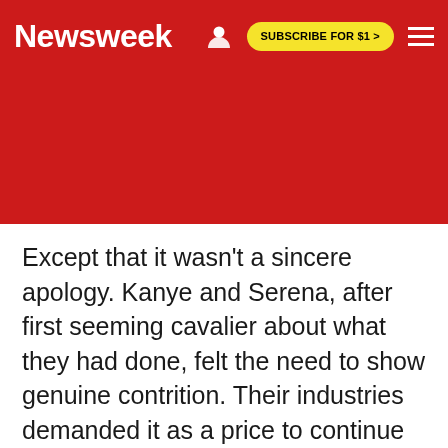Newsweek  SUBSCRIBE FOR $1 >
Except that it wasn't a sincere apology. Kanye and Serena, after first seeming cavalier about what they had done, felt the need to show genuine contrition. Their industries demanded it as a price to continue performing. But politics apparently has lower standards than hip-hop, not to mention tennis. Wilson's case played out